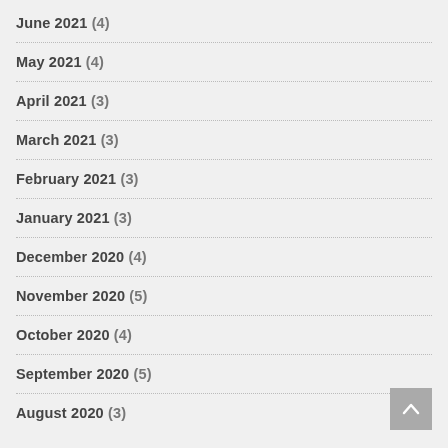June 2021 (4)
May 2021 (4)
April 2021 (3)
March 2021 (3)
February 2021 (3)
January 2021 (3)
December 2020 (4)
November 2020 (5)
October 2020 (4)
September 2020 (5)
August 2020 (3)